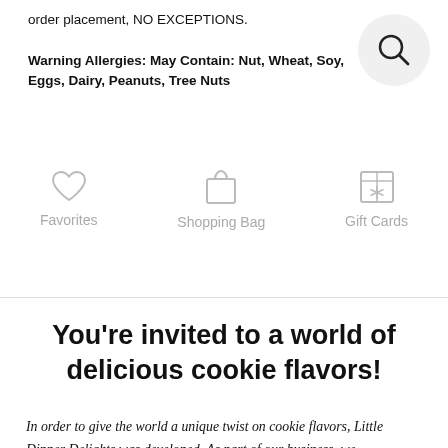order placement, NO EXCEPTIONS.
Warning Allergies: May Contain: Nut, Wheat, Soy, Eggs, Dairy, Peanuts, Tree Nuts
[Figure (illustration): Search icon (magnifying glass) inside a light gray circle]
[Figure (infographic): Three navigation icons: Favorites (heart), Shopping Bag (bag), Gift Cards (gift box with asterisk)]
You're invited to a world of delicious cookie flavors!
In order to give the world a unique twist on cookie flavors, Little Dipper Delights was developed. As part of our business, we